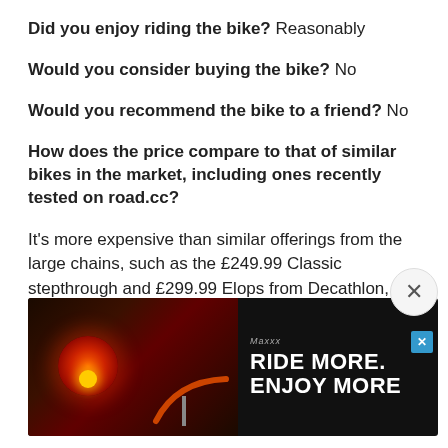Did you enjoy riding the bike? Reasonably
Would you consider buying the bike? No
Would you recommend the bike to a friend? No
How does the price compare to that of similar bikes in the market, including ones recently tested on road.cc?
It's more expensive than similar offerings from the large chains, such as the £249.99 Classic stepthrough and £299.99 Elops from Decathlon, or the £320 Pendleton Somerby.
It is ... d £54 ... sive mo ... al not
[Figure (screenshot): Advertisement banner overlay with close button (×). Ad shows 'Ride More. Enjoy More' text on dark background with bicycle tail light imagery.]